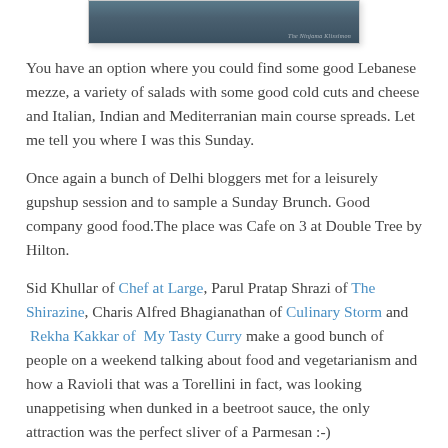[Figure (photo): Partial top of a restaurant/cafe interior photo with a watermark text overlay]
You have an option where you could find some good Lebanese mezze, a variety of salads with some good cold cuts and cheese and Italian, Indian and Mediterranian main course spreads. Let me tell you where I was this Sunday.
Once again a bunch of Delhi bloggers met for a leisurely gupshup session and to sample a Sunday Brunch. Good company good food.The place was Cafe on 3 at Double Tree by Hilton.
Sid Khullar of Chef at Large, Parul Pratap Shrazi of The Shirazine, Charis Alfred Bhagianathan of Culinary Storm and Rekha Kakkar of My Tasty Curry make a good bunch of people on a weekend talking about food and vegetarianism and how a Ravioli that was a Torellini in fact, was looking unappetising when dunked in a beetroot sauce, the only attraction was the perfect sliver of a Parmesan :-) We all agreed on this one. More or less.
The 3 ...